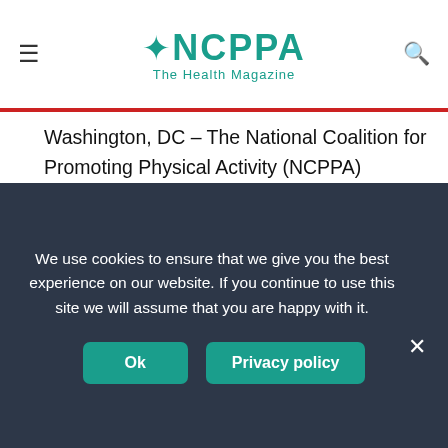NCPPA The Health Magazine
Washington, DC – The National Coalition for Promoting Physical Activity (NCPPA) commends the leadership of Senator Tom Harkin (D-IA), Chairman of the Senate Health, Education, Labor, and Pensions (HELP) Committee, and Senator Roger Wicker (R-MS) for introducing the Physical Activity Guidelines for Americans Act of 2013. The bipartisan bill is based on the physical activity guidelines provisions in Harkin's comprehensive wellness bill, the Healthier Lifestyles and Prevention America (HeLP America) Act, introduced earlier this year.
We use cookies to ensure that we give you the best experience on our website. If you continue to use this site we will assume that you are happy with it.